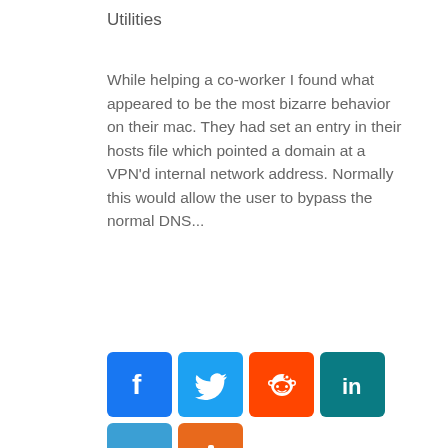Utilities
While helping a co-worker I found what appeared to be the most bizarre behavior on their mac. They had set an entry in their hosts file which pointed a domain at a VPN'd internal network address. Normally this would allow the user to bypass the normal DNS...
[Figure (infographic): Row of social sharing buttons: Facebook (blue), Twitter (blue), Reddit (orange-red), LinkedIn (teal), Email (blue), and AddThis (orange) share icons.]